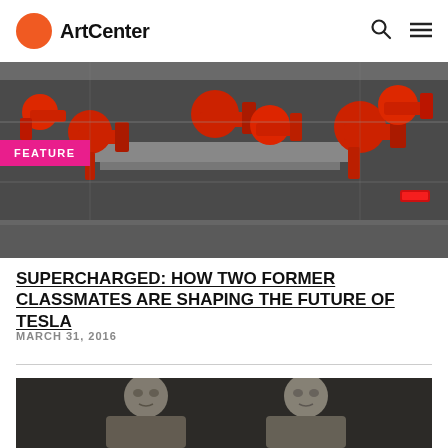ArtCenter
[Figure (photo): Industrial robot assembly line with red robotic arms in a factory setting, Tesla manufacturing plant]
FEATURE
SUPERCHARGED: HOW TWO FORMER CLASSMATES ARE SHAPING THE FUTURE OF TESLA
MARCH 31, 2016
[Figure (photo): Black and white portrait photograph of two young men, former classmates]